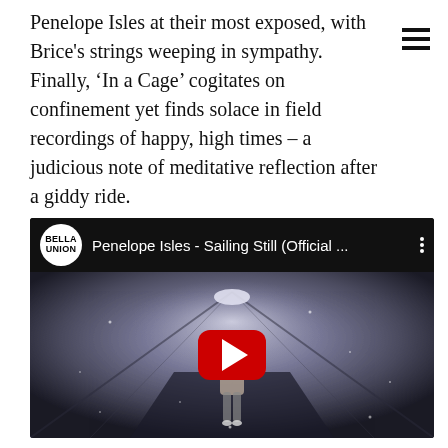Penelope Isles at their most exposed, with Brice's strings weeping in sympathy. Finally, 'In a Cage' cogitates on confinement yet finds solace in field recordings of happy, high times – a judicious note of meditative reflection after a giddy ride.
[Figure (screenshot): Embedded YouTube video player showing 'Penelope Isles - Sailing Still (Official ...' with Bella Union label logo, a dark tunnel scene with a figure walking, and a red YouTube play button overlay.]